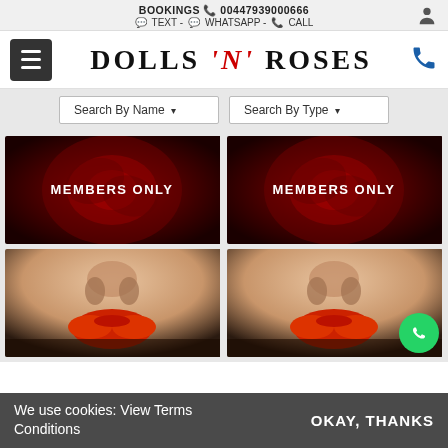BOOKINGS 00447939000666 TEXT - WHATSAPP - CALL
DOLLS 'N' ROSES
Search By Name ▾
Search By Type ▾
[Figure (photo): Red rose close-up with MEMBERS ONLY text overlay]
[Figure (photo): Red rose close-up with MEMBERS ONLY text overlay]
[Figure (photo): Close-up of lips and nose with red lipstick]
[Figure (photo): Close-up of lips and nose with red lipstick]
We use cookies: View Terms Conditions
OKAY, THANKS